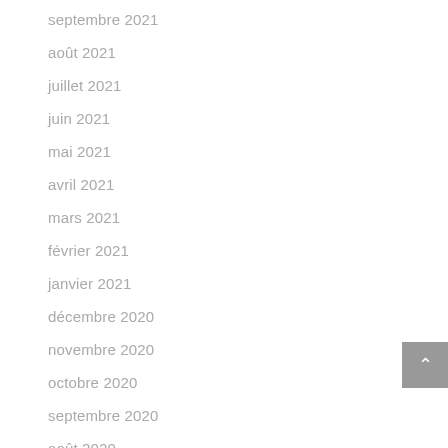septembre 2021
août 2021
juillet 2021
juin 2021
mai 2021
avril 2021
mars 2021
février 2021
janvier 2021
décembre 2020
novembre 2020
octobre 2020
septembre 2020
août 2020